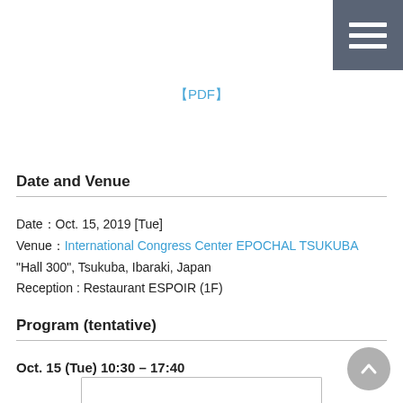[Figure (other): Hamburger menu button icon with three white horizontal lines on a dark grey/blue background, top-right corner]
【PDF】
Date and Venue
Date：Oct. 15, 2019 [Tue]
Venue：International Congress Center EPOCHAL TSUKUBA
"Hall 300", Tsukuba, Ibaraki, Japan
Reception : Restaurant ESPOIR (1F)
Program (tentative)
Oct. 15 (Tue) 10:30 – 17:40